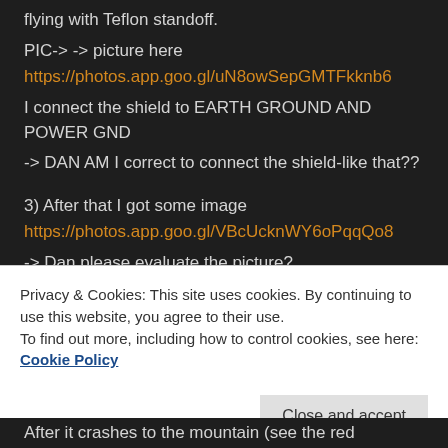flying with Teflon standoff.
PIC-> -> picture here
https://photos.app.goo.gl/uN8owSepGMTFkknb6
I connect the shield to EARTH GROUND AND POWER GND
-> DAN AM I correct to connect the shield-like that??
3) After that I got some image
https://photos.app.goo.gl/VBcUcknWY6oPqqQo8
-> Dan please evaluate the picture?
4) Some STM picture yesterday night 22 April 2021
Privacy & Cookies: This site uses cookies. By continuing to use this website, you agree to their use.
To find out more, including how to control cookies, see here: Cookie Policy
Close and accept
After it crashes to the mountain (see the red